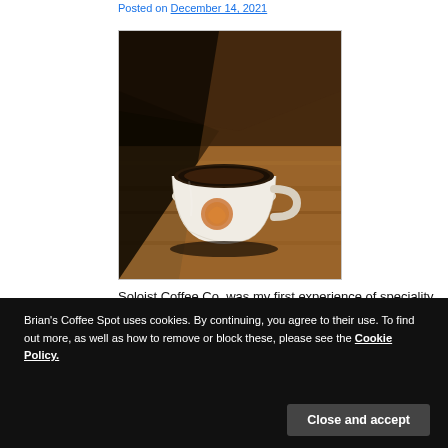Posted on December 14, 2021
[Figure (photo): A white coffee cup with an orange logo/stamp on a wooden table, photographed in dramatic side lighting. The cup contains black coffee.]
Soloist Coffee Co. was my first experience of speciality
Brian's Coffee Spot uses cookies. By continuing, you agree to their use. To find out more, as well as how to remove or block these, please see the Cookie Policy.
Located on the narrow, straight and surprisingly low rise